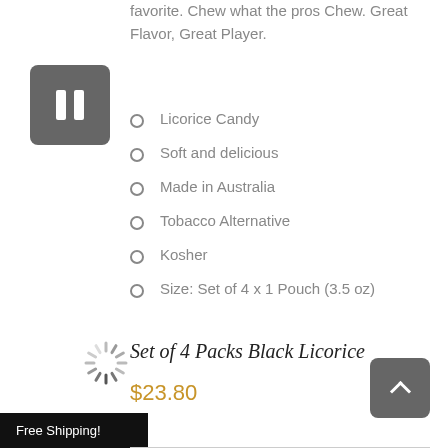favorite. Chew what the pros Chew. Great Flavor, Great Player.
[Figure (other): Pause/stop button icon — dark grey rounded square with two white vertical bars]
Licorice Candy
Soft and delicious
Made in Australia
Tobacco Alternative
Kosher
Size: Set of 4 x 1 Pouch (3.5 oz)
Set of 4 Packs Black Licorice
$23.80
[Figure (other): Loading spinner icon]
Free Shipping!